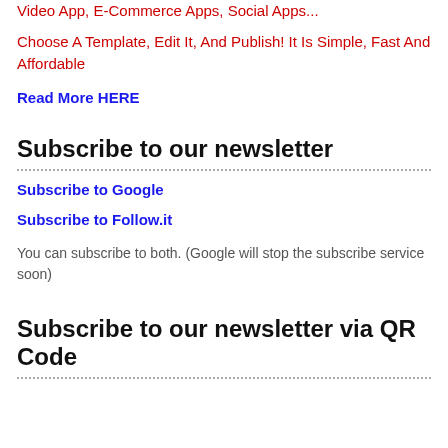Video App, E-Commerce Apps, Social Apps...
Choose A Template, Edit It, And Publish! It Is Simple, Fast And Affordable
Read More HERE
Subscribe to our newsletter
Subscribe to Google
Subscribe to Follow.it
You can subscribe to both. (Google will stop the subscribe service soon)
Subscribe to our newsletter via QR Code